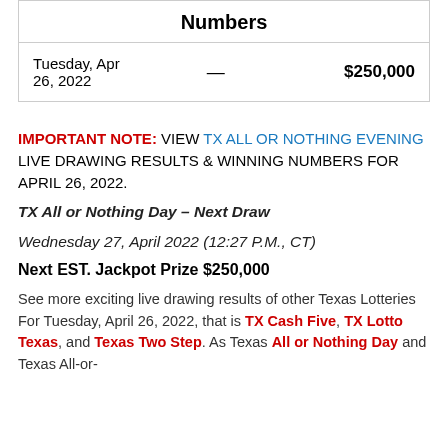| Numbers |  |  |
| --- | --- | --- |
| Tuesday, Apr 26, 2022 | — | $250,000 |
IMPORTANT NOTE: VIEW TX ALL OR NOTHING EVENING LIVE DRAWING RESULTS & WINNING NUMBERS FOR APRIL 26, 2022.
TX All or Nothing Day – Next Draw
Wednesday 27, April 2022 (12:27 P.M., CT)
Next EST. Jackpot Prize $250,000
See more exciting live drawing results of other Texas Lotteries For Tuesday, April 26, 2022, that is TX Cash Five, TX Lotto Texas, and Texas Two Step. As Texas All or Nothing Day and Texas All-or-